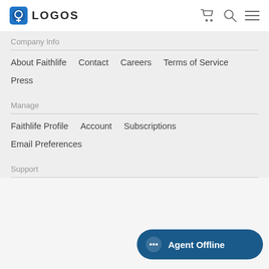LOGOS
Company Info
About Faithlife
Contact
Careers
Terms of Service
Press
Manage
Faithlife Profile
Account
Subscriptions
Email Preferences
Support
Agent Offline